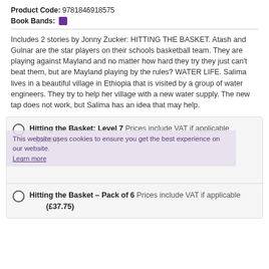Product Code: 9781846918575
Book Bands: [purple swatch]
Includes 2 stories by Jonny Zucker: HITTING THE BASKET. Atash and Gulnar are the star players on their schools basketball team. They are playing against Mayland and no matter how hard they try they just can't beat them, but are Mayland playing by the rules? WATER LIFE. Salima lives in a beautiful village in Ethiopia that is visited by a group of water engineers. They try to help her village with a new water supply. The new tap does not work, but Salima has an idea that may help.
Hitting the Basket: Level 7 Prices include VAT if applicable (£6.99)
Hitting the Basket – Pack of 6 Prices include VAT if applicable (£37.75)